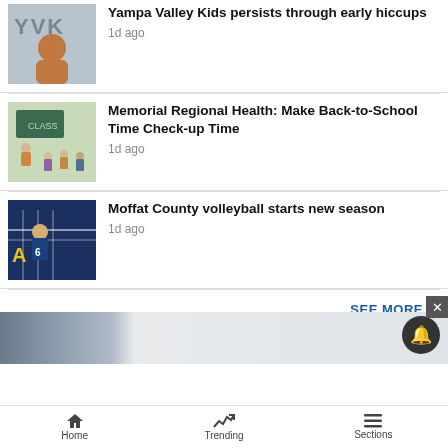[Figure (photo): Thumbnail with YVK letters and a woman in brown top]
Yampa Valley Kids persists through early hiccups
1d ago
[Figure (photo): Classroom scene with teacher and children at desks]
Memorial Regional Health: Make Back-to-School Time Check-up Time
1d ago
[Figure (photo): Volleyball player in blue and yellow uniform at net]
Moffat County volleyball starts new season
1d ago
SEE MORE ›
[Figure (screenshot): Advertisement banner partially visible]
Home   Trending   Sections